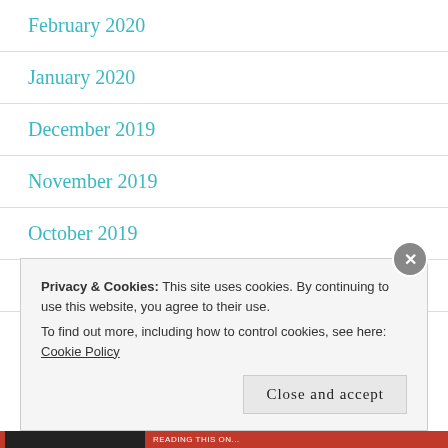February 2020
January 2020
December 2019
November 2019
October 2019
September 2019
Privacy & Cookies: This site uses cookies. By continuing to use this website, you agree to their use. To find out more, including how to control cookies, see here: Cookie Policy
Close and accept